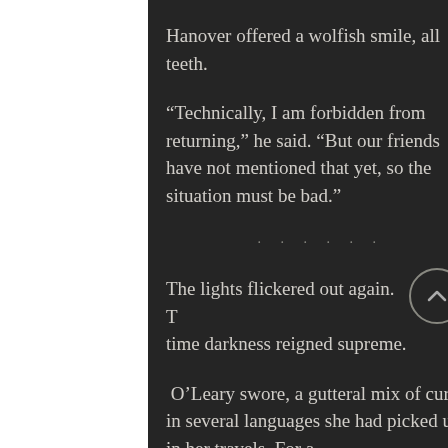Hanover offered a wolfish smile, all teeth.
“Technically, I am forbidden from returning,” he said. “But our friends have not mentioned that yet, so the situation must be bad.”
. . . . . .
The lights flickered out again. This time darkness reigned supreme.
O’Leary swore, a gutteral mix of curses in several languages she had picked up in her travels. For a